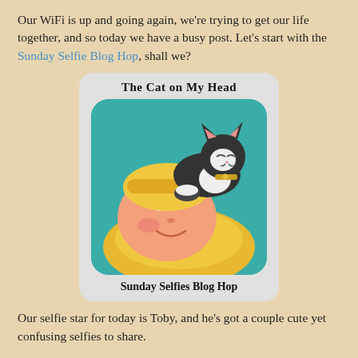Our WiFi is up and going again, we're trying to get our life together, and so today we have a busy post. Let's start with the Sunday Selfie Blog Hop, shall we?
[Figure (illustration): Badge/logo image for 'The Cat on My Head - Sunday Selfies Blog Hop' showing a cartoon illustration of a woman lying on a pillow with a black and white cat resting on her head. The background is teal/turquoise with a checkered border.]
Our selfie star for today is Toby, and he's got a couple cute yet confusing selfies to share.